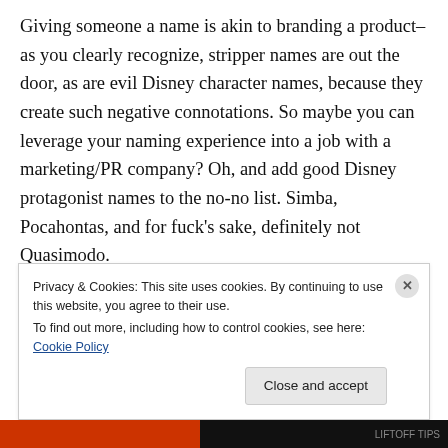Giving someone a name is akin to branding a product–as you clearly recognize, stripper names are out the door, as are evil Disney character names, because they create such negative connotations. So maybe you can leverage your naming experience into a job with a marketing/PR company? Oh, and add good Disney protagonist names to the no-no list. Simba, Pocahontas, and for fuck's sake, definitely not Quasimodo.
Privacy & Cookies: This site uses cookies. By continuing to use this website, you agree to their use. To find out more, including how to control cookies, see here: Cookie Policy
Close and accept